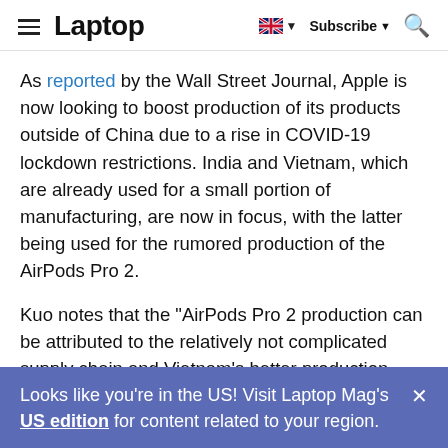Laptop | Subscribe | Search
As reported by the Wall Street Journal, Apple is now looking to boost production of its products outside of China due to a rise in COVID-19 lockdown restrictions. India and Vietnam, which are already used for a small portion of manufacturing, are now in focus, with the latter being used for the rumored production of the AirPods Pro 2.
Kuo notes that the "AirPods Pro 2 production can be attributed to the relatively not complicated supply chain and Vietnam's better production environment (such as infrastructure and workforce) vs. most
Looks like you're in the US! Visit Laptop Mag's US edition for content related to your region.